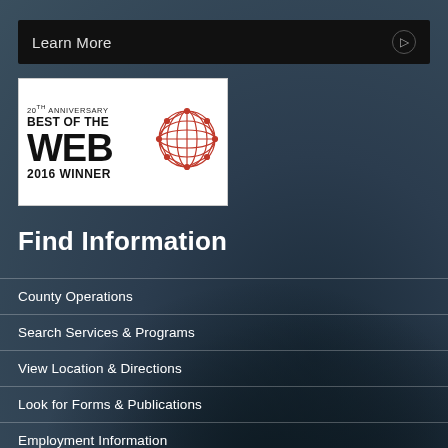Learn More
[Figure (logo): 20th Anniversary Best of the Web 2016 Winner badge with globe graphic]
Find Information
County Operations
Search Services & Programs
View Location & Directions
Look for Forms & Publications
Employment Information
For Employees/Retirees